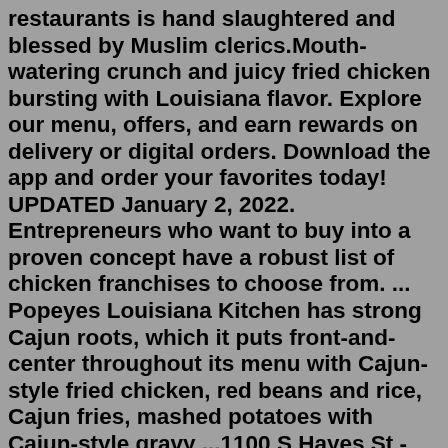restaurants is hand slaughtered and blessed by Muslim clerics.Mouth-watering crunch and juicy fried chicken bursting with Louisiana flavor. Explore our menu, offers, and earn rewards on delivery or digital orders. Download the app and order your favorites today! UPDATED January 2, 2022. Entrepreneurs who want to buy into a proven concept have a robust list of chicken franchises to choose from. ... Popeyes Louisiana Kitchen has strong Cajun roots, which it puts front-and-center throughout its menu with Cajun-style fried chicken, red beans and rice, Cajun fries, mashed potatoes with Cajun-style gravy ...1100 S Hayes St - Space M108 The Fashion Center-Pentagon City Mall. Arlington, VA 22202. CLOSED NOW. From Business: Popeyes®, Where Slow Cooking Meets Louisiana Fast®- Our menu features our famous Bonafide® Chicken, Handcrafted Tenders, delicious Seafood options, Red Beans and…. 6.Oct 07, 2008 · Popeyes in fight over Halal chicken. A group of Muslim restaurant franchises fighting fast food chain Po...